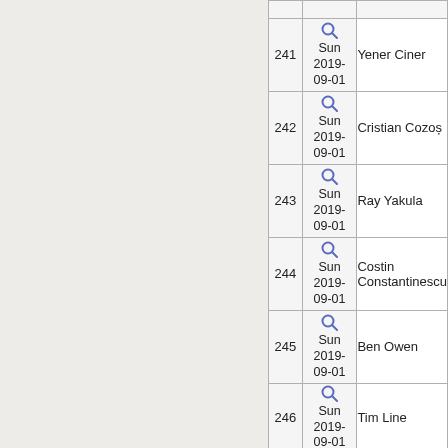| ID | Date | Name |
| --- | --- | --- |
| 241 | Sun 2019-09-01 | Yener Ciner |
| 242 | Sun 2019-09-01 | Cristian Cozoș |
| 243 | Sun 2019-09-01 | Ray Yakula |
| 244 | Sun 2019-09-01 | Costin Constantinescu |
| 245 | Sun 2019-09-01 | Ben Owen |
| 246 | Sun 2019-09-01 | Tim Line |